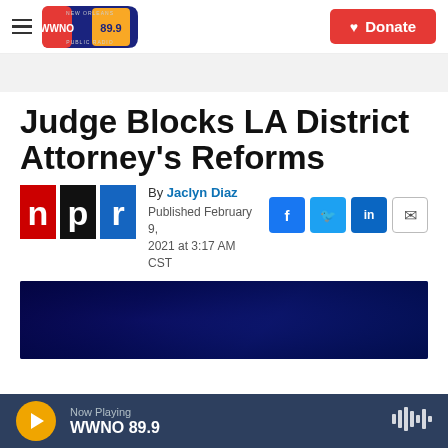WWNO 89.9 NEW ORLEANS PUBLIC RADIO — Donate
Judge Blocks LA District Attorney's Reforms
By Jaclyn Diaz
Published February 9, 2021 at 3:17 AM CST
[Figure (photo): Dark blue photograph, partially visible, appearing to show a nighttime scene]
Now Playing WWNO 89.9